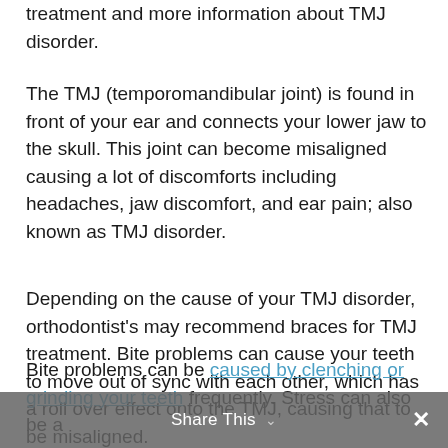treatment and more information about TMJ disorder.
The TMJ (temporomandibular joint) is found in front of your ear and connects your lower jaw to the skull. This joint can become misaligned causing a lot of discomforts including headaches, jaw discomfort, and ear pain; also known as TMJ disorder.
Depending on the cause of your TMJ disorder, orthodontist's may recommend braces for TMJ treatment. Bite problems can cause your teeth to move out of sync with each other, which has a roll over effect onto the TMJ, causing that to be misaligned.
Bite problems can be caused by clenching or grinding your teeth frequently. Stress can also be a
Share This